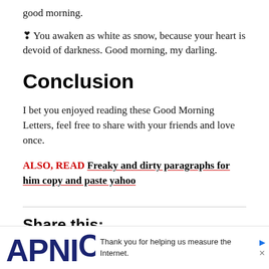good morning.
❣ You awaken as white as snow, because your heart is devoid of darkness. Good morning, my darling.
Conclusion
I bet you enjoyed reading these Good Morning Letters, feel free to share with your friends and love once.
ALSO, READ Freaky and dirty paragraphs for him copy and paste yahoo
Share this:
[Figure (other): APNIC advertisement banner with text: Thank you for helping us measure the Internet.]